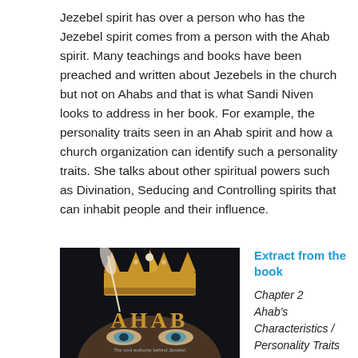Jezebel spirit has over a person who has the Jezebel spirit comes from a person with the Ahab spirit. Many teachings and books have been preached and written about Jezebels in the church but not on Ahabs and that is what Sandi Niven looks to address in her book. For example, the personality traits seen in an Ahab spirit and how a church organization can identify such a personality traits. She talks about other spiritual powers such as Divination, Seducing and Controlling spirits that can inhabit people and their influence.
[Figure (photo): Book cover of 'AHAB' showing a golden crown and a woman's eyes in the background with the subtitle 'The soul authority behind Jezebel']
Extract from the book
Chapter 2
Ahab's Characteristics / Personality Traits
To understand how the Ahab spirit opens the door to Jezebel and her